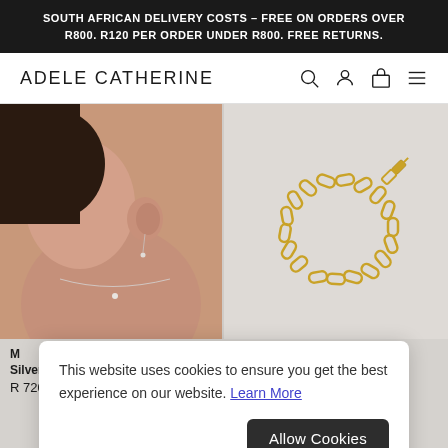SOUTH AFRICAN DELIVERY COSTS – FREE ON ORDERS OVER R800. R120 PER ORDER UNDER R800. FREE RETURNS.
ADELE CATHERINE
[Figure (screenshot): Two product images side by side on grey background: left shows a close-up of a woman's ear/neck wearing a thin silver necklace with pearl, right shows a gold chain link bracelet on grey background]
M... Silver
R 720.00
Bracelet, Gold Plated
R 790.00
This website uses cookies to ensure you get the best experience on our website. Learn More
Allow Cookies